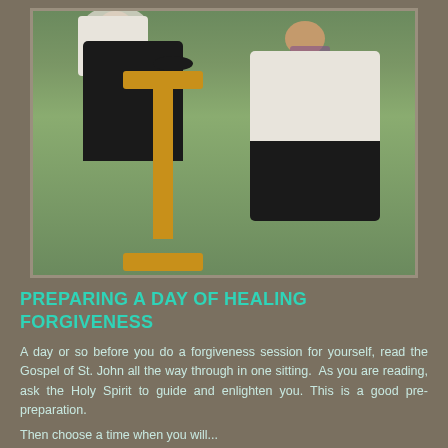[Figure (photo): A woman in a black skirt and white top kneeling at a wooden prie-dieu, and a Catholic priest in white vestments and a purple stole kneeling beside her on grass, seemingly in a confession or prayer setting outdoors.]
PREPARING A DAY OF HEALING FORGIVENESS
A day or so before you do a forgiveness session for yourself, read the Gospel of St. John all the way through in one sitting.  As you are reading, ask the Holy Spirit to guide and enlighten you. This is a good pre-preparation.
Then choose a time when you will...